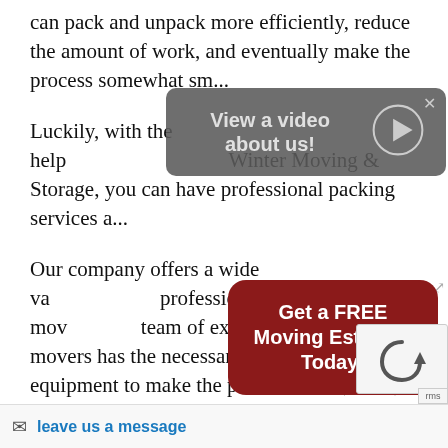can pack and unpack more efficiently, reduce the amount of work, and eventually make the process somewhat sm...
[Figure (other): Dark grey rounded popup overlay with text 'View a video about us!' and a circular play button on the right. A close (x) button appears at the top right.]
Luckily, with the help of Winter Moving & Storage, you can have professional packing services a...
[Figure (other): Dark red rounded button with bold white text 'Get a FREE Moving Estimate Today!']
Our company offers a wide va... professional packing and mov... team of expert packers and movers has the necessary tools and equipment to make the process easier, safer, and more efficient.
Additionally, our packing and moving company has won several awards, including the Hill National Quality Award, which shows our dedication and passion fo...
[Figure (other): reCAPTCHA widget with circular arrow icon]
[Figure (other): Bottom bar with envelope icon and 'leave us a message' link text in blue]